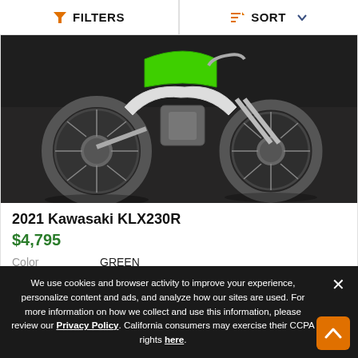FILTERS   SORT
[Figure (photo): Photo of a 2021 Kawasaki KLX230R dirt bike, green and white, showing both wheels, engine, and frame, parked indoors on a dark floor.]
2021 Kawasaki KLX230R
$4,795
| Color | GREEN |
| --- | --- |
We use cookies and browser activity to improve your experience, personalize content and ads, and analyze how our sites are used. For more information on how we collect and use this information, please review our Privacy Policy. California consumers may exercise their CCPA rights here.